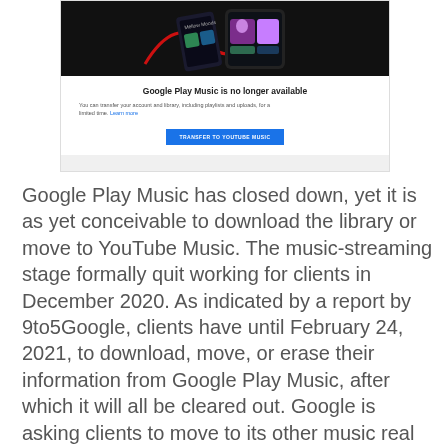[Figure (screenshot): Screenshot of Google Play Music shutdown page showing phones on dark background, bold text 'Google Play Music is no longer available', subtext about transferring account and library, and a blue 'TRANSFER TO YOUTUBE MUSIC' button.]
Google Play Music has closed down, yet it is as yet conceivable to download the library or move to YouTube Music. The music-streaming stage formally quit working for clients in December 2020. As indicated by a report by 9to5Google, clients have until February 24, 2021, to download, move, or erase their information from Google Play Music, after which it will all be cleared out. Google is asking clients to move to its other music real time feature YouTube Music before the previously mentioned date.